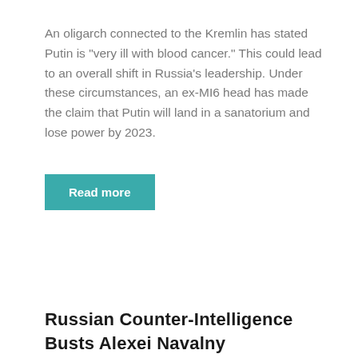An oligarch connected to the Kremlin has stated Putin is "very ill with blood cancer." This could lead to an overall shift in Russia's leadership. Under these circumstances, an ex-MI6 head has made the claim that Putin will land in a sanatorium and lose power by 2023.
Read more
Russian Counter-Intelligence Busts Alexei Navalny Collaborating With